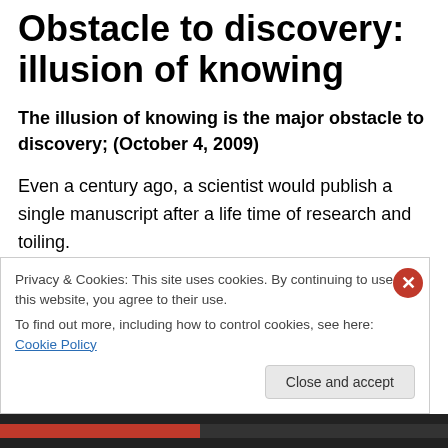Obstacle to discovery: illusion of knowing
The illusion of knowing is the major obstacle to discovery; (October 4, 2009)
Even a century ago, a scientist would publish a single manuscript after a life time of research and toiling.
Transmission of opinions and suggestions among scientists were sent via long erudite letters by peers.
T… (partially visible, obscured by cookie banner)
Privacy & Cookies: This site uses cookies. By continuing to use this website, you agree to their use.
To find out more, including how to control cookies, see here: Cookie Policy